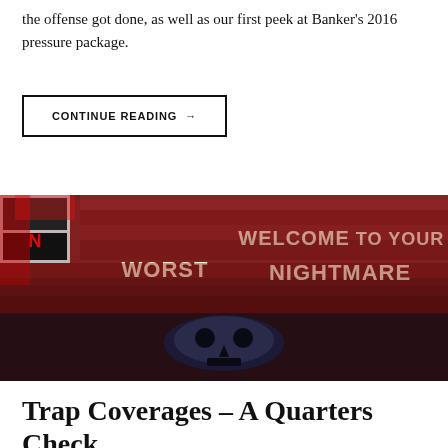the offense got done, as well as our first peek at Banker's 2016 pressure package.
CONTINUE READING →
[Figure (photo): Aerial view of a packed football stadium with fans holding up a card display that reads 'WELCOME TO YOUR WORST NIGHTMARE' with a skull graphic on the field-level banner.]
Trap Coverages – A Quarters Check